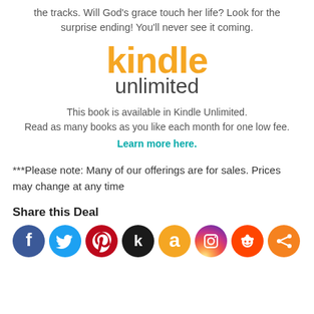the tracks. Will God's grace touch her life? Look for the surprise ending! You'll never see it coming.
[Figure (logo): Kindle Unlimited logo — 'kindle' in large orange text above 'unlimited' in dark gray text]
This book is available in Kindle Unlimited.
Read as many books as you like each month for one low fee.
Learn more here.
***Please note: Many of our offerings are for sales. Prices may change at any time
Share this Deal
[Figure (illustration): Row of 8 social media icon circles: Facebook (blue), Twitter (light blue), Pinterest (red), Kik (black), Amazon (yellow), Instagram (gradient purple-orange), Reddit (orange-red), Share (orange)]